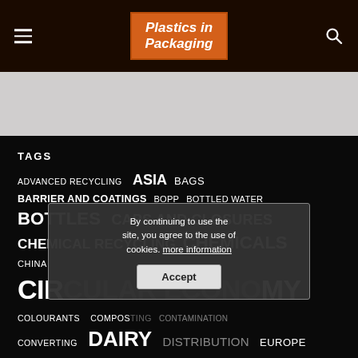Plastics in Packaging
TAGS
ADVANCED RECYCLING  ASIA  BAGS  BARRIER AND COATINGS  BOPP  BOTTLED WATER  BOTTLES  CAPS AND CLOSURES  CHEMICAL RECYCLING  CHEMICALS  CHINA  CIRCULAR ECONOMY  COLOURANTS  COMPOSTING  CONTAMINATION  CONVERTING  DAIRY  DISTRIBUTION  EUROPE  FILLING  FILMS  FLEXIBLES
By continuing to use the site, you agree to the use of cookies. more information
Accept